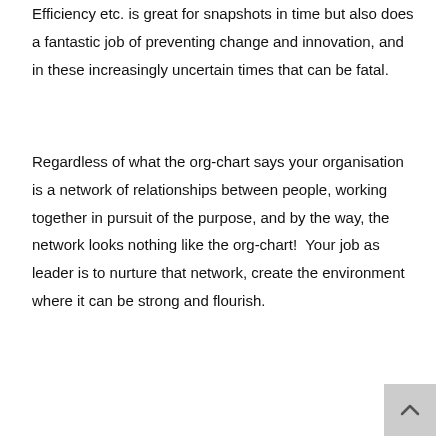Efficiency etc. is great for snapshots in time but also does a fantastic job of preventing change and innovation, and in these increasingly uncertain times that can be fatal.
Regardless of what the org-chart says your organisation is a network of relationships between people, working together in pursuit of the purpose, and by the way, the network looks nothing like the org-chart!  Your job as leader is to nurture that network, create the environment where it can be strong and flourish.